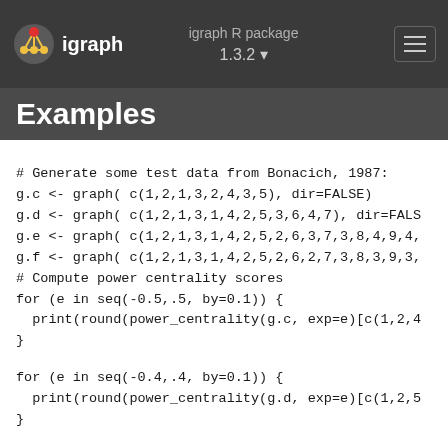igraph R package
igraph 1.3.2
Examples
# Generate some test data from Bonacich, 1987:
g.c <- graph( c(1,2,1,3,2,4,3,5), dir=FALSE)
g.d <- graph( c(1,2,1,3,1,4,2,5,3,6,4,7), dir=FALS
g.e <- graph( c(1,2,1,3,1,4,2,5,2,6,3,7,3,8,4,9,4,
g.f <- graph( c(1,2,1,3,1,4,2,5,2,6,2,7,3,8,3,9,3,
# Compute power centrality scores
for (e in seq(-0.5,.5, by=0.1)) {
  print(round(power_centrality(g.c, exp=e)[c(1,2,4
}

for (e in seq(-0.4,.4, by=0.1)) {
  print(round(power_centrality(g.d, exp=e)[c(1,2,5
}